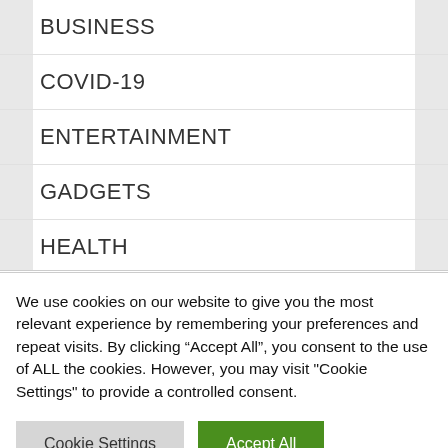BUSINESS
COVID-19
ENTERTAINMENT
GADGETS
HEALTH
HOW TO
LIFESTYLE
POLITICS
We use cookies on our website to give you the most relevant experience by remembering your preferences and repeat visits. By clicking “Accept All”, you consent to the use of ALL the cookies. However, you may visit "Cookie Settings" to provide a controlled consent.